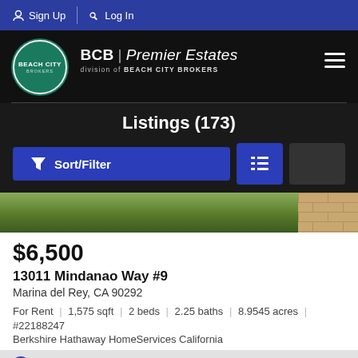Sign Up  Log In
[Figure (logo): Beach City Brokers logo with BCB Premier Estates branding on black background]
Listings (173)
[Figure (photo): Partial outdoor photo showing green bushes/plants and brick wall corner]
$6,500
13011 Mindanao Way #9
Marina del Rey, CA 90292
For Rent  |  1,575 sqft  |  2 beds  |  2.25 baths  |  8.9545 acres  |  #22188247
Berkshire Hathaway HomeServices California
Listed Sunday at 11:14AM